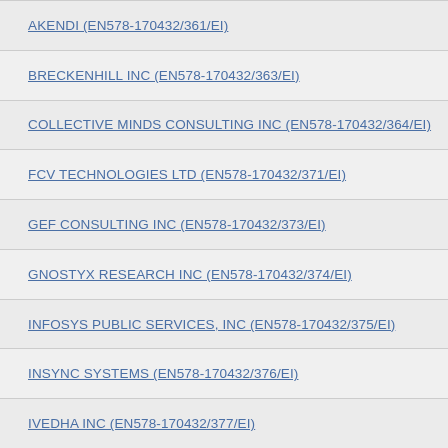AKENDI (EN578-170432/361/EI)
BRECKENHILL INC (EN578-170432/363/EI)
COLLECTIVE MINDS CONSULTING INC (EN578-170432/364/EI)
FCV TECHNOLOGIES LTD (EN578-170432/371/EI)
GEF CONSULTING INC (EN578-170432/373/EI)
GNOSTYX RESEARCH INC (EN578-170432/374/EI)
INFOSYS PUBLIC SERVICES, INC (EN578-170432/375/EI)
INSYNC SYSTEMS (EN578-170432/376/EI)
IVEDHA INC (EN578-170432/377/EI)